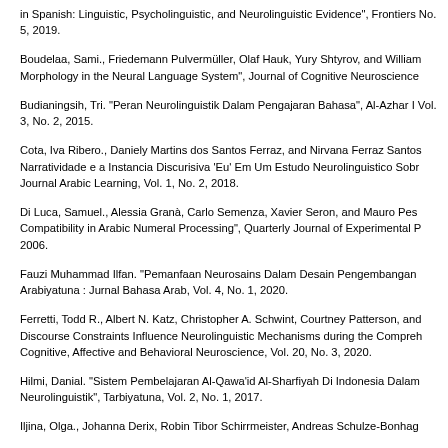in Spanish: Linguistic, Psycholinguistic, and Neurolinguistic Evidence", Frontiers No. 5, 2019.
Boudelaa, Sami., Friedemann Pulvermüller, Olaf Hauk, Yury Shtyrov, and William Morphology in the Neural Language System", Journal of Cognitive Neuroscience
Budianingsih, Tri. “Peran Neurolinguistik Dalam Pengajaran Bahasa", Al-Azhar I Vol. 3, No. 2, 2015.
Cota, Iva Ribero., Daniely Martins dos Santos Ferraz, and Nirvana Ferraz Santos Narratividade e a Instancia Discurisiva ‘Eu’ Em Um Estudo Neurolinguistico Sobr Journal Arabic Learning, Vol. 1, No. 2, 2018.
Di Luca, Samuel., Alessia Granà, Carlo Semenza, Xavier Seron, and Mauro Pes Compatibility in Arabic Numeral Processing", Quarterly Journal of Experimental P 2006.
Fauzi Muhammad Ilfan. “Pemanfaan Neurosains Dalam Desain Pengembangan Arabiyatuna : Jurnal Bahasa Arab, Vol. 4, No. 1, 2020.
Ferretti, Todd R., Albert N. Katz, Christopher A. Schwint, Courtney Patterson, and Discourse Constraints Influence Neurolinguistic Mechanisms during the Compreh Cognitive, Affective and Behavioral Neuroscience, Vol. 20, No. 3, 2020.
Hilmi, Danial. “Sistem Pembelajaran Al-Qawa’id Al-Sharfiyah Di Indonesia Dalam Neurolinguistik", Tarbiyatuna, Vol. 2, No. 1, 2017.
Iljina, Olga., Johanna Derix, Robin Tibor Schirrmeister, Andreas Schulze-Bonhag